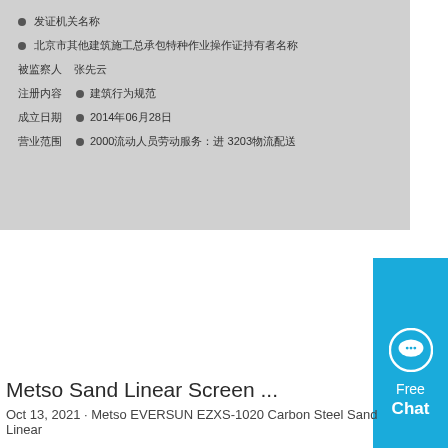[Figure (screenshot): Blurred Chinese document showing form fields with labels and text content, on grey background]
[Figure (other): Blue chat widget button with speech bubble icon and text 'Free Chat']
Metso Sand Linear Screen ...
Oct 13, 2021 · Metso EVERSUN EZXS-1020 Carbon Steel Sand Linear